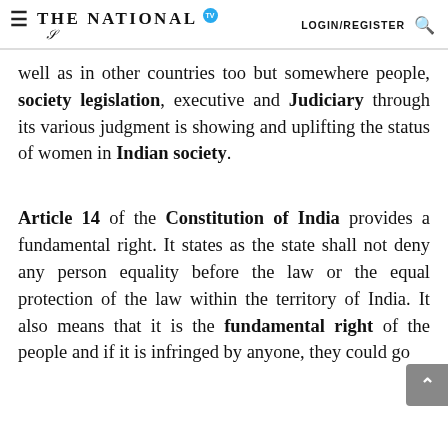THE NATIONAL  LOGIN/REGISTER
well as in other countries too but somewhere people, society legislation, executive and Judiciary through its various judgment is showing and uplifting the status of women in Indian society.
Article 14 of the Constitution of India provides a fundamental right. It states as the state shall not deny any person equality before the law or the equal protection of the law within the territory of India. It also means that it is the fundamental right of the people and if it is infringed by anyone, they could go